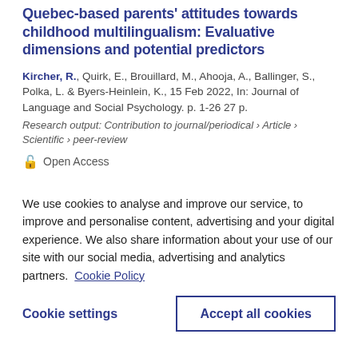Quebec-based parents' attitudes towards childhood multilingualism: Evaluative dimensions and potential predictors
Kircher, R., Quirk, E., Brouillard, M., Ahooja, A., Ballinger, S., Polka, L. & Byers-Heinlein, K., 15 Feb 2022, In: Journal of Language and Social Psychology. p. 1-26 27 p.
Research output: Contribution to journal/periodical › Article › Scientific › peer-review
Open Access
We use cookies to analyse and improve our service, to improve and personalise content, advertising and your digital experience. We also share information about your use of our site with our social media, advertising and analytics partners.  Cookie Policy
Cookie settings
Accept all cookies